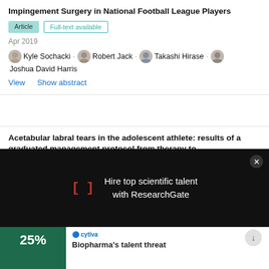Impingement Surgery in National Football League Players
Article | Full-text available
Apr 2019
Kyle Sochacki · Robert Jack · Takashi Hirase · Joshua David Harris
View   Show abstract
Acetabular labral tears in the adolescent athlete: results of a graduated management protocol from therapy to...
[Figure (screenshot): Dark overlay ad banner with ResearchGate logo [J] in red and text 'Hire top scientific talent with ResearchGate' in white, with a close X button]
[Figure (infographic): Cytiva biopharma advertisement showing '25%' in large text on a green background with illustrated figures]
Biopharma's talent threat